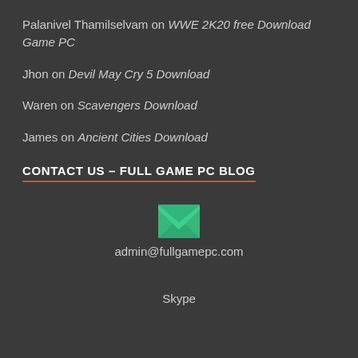Palanivel Thamilselvam on WWE 2K20 free Download Game PC
Jhon on Devil May Cry 5 Download
Waren on Scavengers Download
James on Ancient Cities Download
CONTACT US – FULL GAME PC BLOG
[Figure (illustration): Green envelope icon representing email contact]
admin@fullgamepc.com
Skype